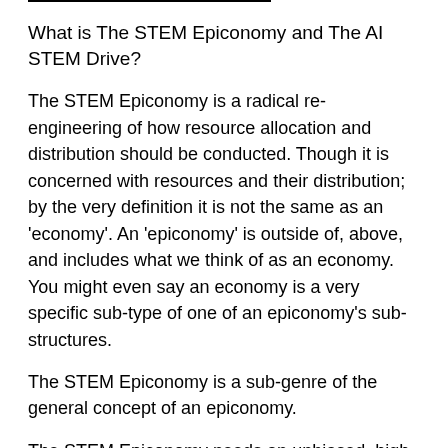What is The STEM Epiconomy and The AI STEM Drive?
The STEM Epiconomy is a radical re-engineering of how resource allocation and distribution should be conducted. Though it is concerned with resources and their distribution; by the very definition it is not the same as an 'economy'. An 'epiconomy' is outside of, above, and includes what we think of as an economy. You might even say an economy is a very specific sub-type of one of an epiconomy's sub-structures.
The STEM Epiconomy is a sub-genre of the general concept of an epiconomy.
The STEM Epiconomy needs an unbiased, high-speed, intelligent and reactive network in order to ensure that it functions at peak efficiency; which is the job of The AI